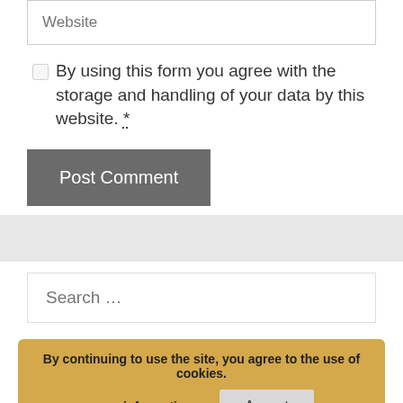Website
By using this form you agree with the storage and handling of your data by this website. *
Post Comment
Search ...
By continuing to use the site, you agree to the use of cookies.
more information
Accept
Recent Posts